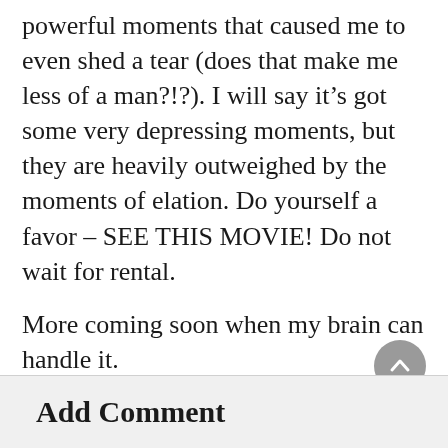powerful moments that caused me to even shed a tear (does that make me less of a man?!?). I will say it’s got some very depressing moments, but they are heavily outweighed by the moments of elation. Do yourself a favor – SEE THIS MOVIE! Do not wait for rental.
More coming soon when my brain can handle it.
Jody
Add Comment